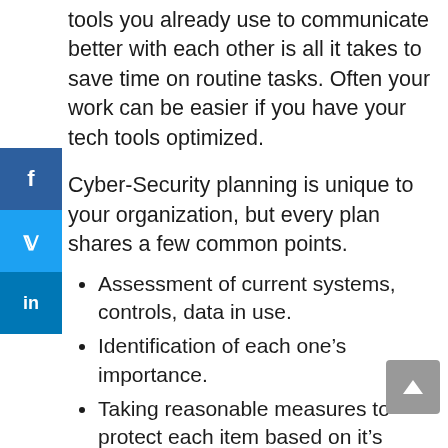tools you already use to communicate better with each other is all it takes to save time on routine tasks. Often your work can be easier if you have your tech tools optimized.
Cyber-Security planning is unique to your organization, but every plan shares a few common points.
Assessment of current systems, controls, data in use.
Identification of each one's importance.
Taking reasonable measures to protect each item based on it's importance.
The web-comic XKCD shows us why it's important to protect your data with better